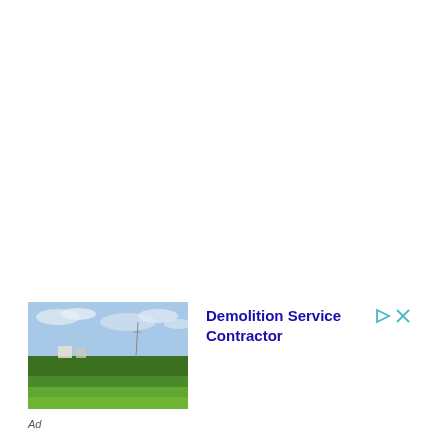[Figure (photo): Outdoor photo of a green agricultural field with some structures and trees in the background under a partly cloudy sky.]
Demolition Service Contractor
Ad